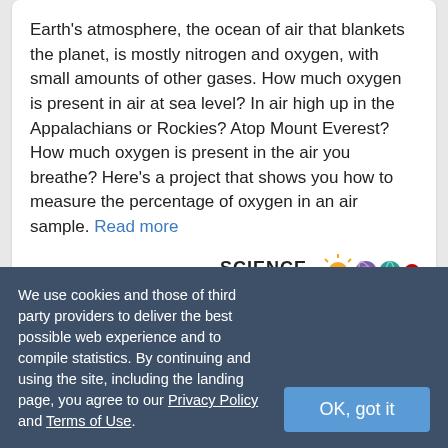Earth's atmosphere, the ocean of air that blankets the planet, is mostly nitrogen and oxygen, with small amounts of other gases. How much oxygen is present in air at sea level? In air high up in the Appalachians or Rockies? Atop Mount Everest? How much oxygen is present in the air you breathe? Here's a project that shows you how to measure the percentage of oxygen in an air sample. Read more
[Figure (logo): Science Buddies logo with colorful molecular icons]
Flash Floods*
Science Fair Project Idea
We use cookies and those of third party providers to deliver the best possible web experience and to compile statistics. By continuing and using the site, including the landing page, you agree to our Privacy Policy and Terms of Use.